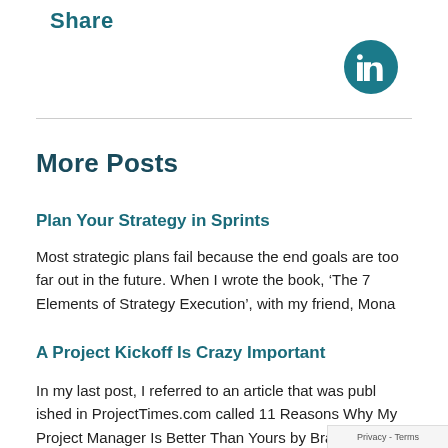Share
[Figure (logo): LinkedIn circular icon button in teal/dark teal color]
More Posts
Plan Your Strategy in Sprints
Most strategic plans fail because the end goals are too far out in the future. When I wrote the book, ‘The 7 Elements of Strategy Execution’, with my friend, Mona
A Project Kickoff Is Crazy Important
In my last post, I referred to an article that was published in ProjectTimes.com called 11 Reasons Why My Project Manager Is Better Than Yours by Brad Egeland where